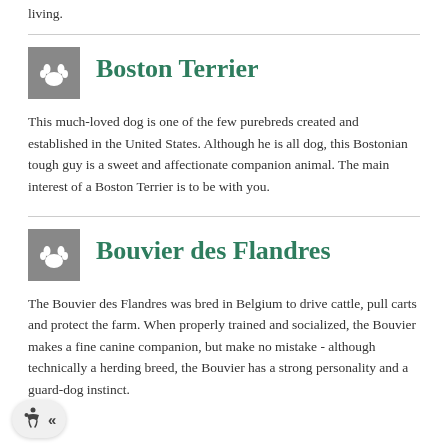living.
Boston Terrier
This much-loved dog is one of the few purebreds created and established in the United States. Although he is all dog, this Bostonian tough guy is a sweet and affectionate companion animal. The main interest of a Boston Terrier is to be with you.
Bouvier des Flandres
The Bouvier des Flandres was bred in Belgium to drive cattle, pull carts and protect the farm. When properly trained and socialized, the Bouvier makes a fine canine companion, but make no mistake - although technically a herding breed, the Bouvier has a strong personality and a guard-dog instinct.